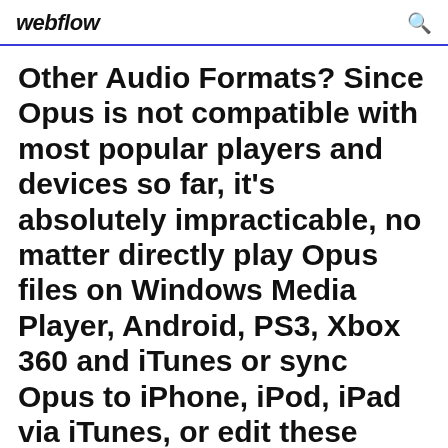webflow
Other Audio Formats? Since Opus is not compatible with most popular players and devices so far, it's absolutely impracticable, no matter directly play Opus files on Windows Media Player, Android, PS3, Xbox 360 and iTunes or sync Opus to iPhone, iPod, iPad via iTunes, or edit these Opus in iMovie and QuickTime.
Convert all your Mp3, Flac, Wma, Ogg, Aac, Ac3, Wav files on your android device. Free